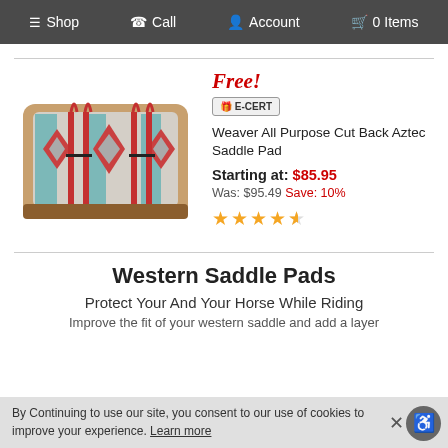Shop  Call  Account  0 Items
[Figure (photo): Weaver All Purpose Cut Back Aztec Saddle Pad product image showing an aztec-patterned saddle pad with red and teal design]
Free!
Weaver All Purpose Cut Back Aztec Saddle Pad
Starting at: $85.95
Was: $95.49 Save: 10%
★★★★½
Western Saddle Pads
Protect Your And Your Horse While Riding
Improve the fit of your western saddle and add a layer...
By Continuing to use our site, you consent to our use of cookies to improve your experience. Learn more